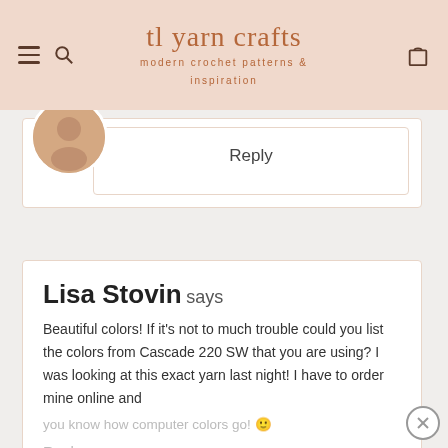tl yarn crafts — modern crochet patterns & inspiration
Reply
Lisa Stovin says
Beautiful colors! If it's not to much trouble could you list the colors from Cascade 220 SW that you are using? I was looking at this exact yarn last night! I have to order mine online and you know how computer colors go! 🙂
Reply